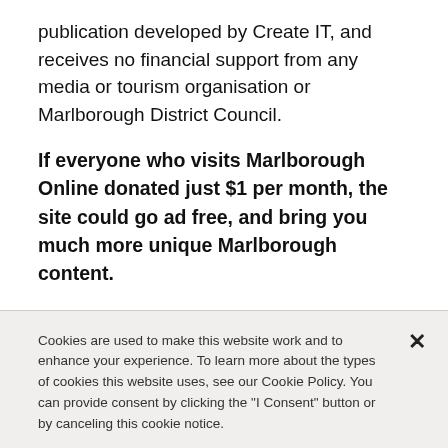publication developed by Create IT, and receives no financial support from any media or tourism organisation or Marlborough District Council.
If everyone who visits Marlborough Online donated just $1 per month, the site could go ad free, and bring you much more unique Marlborough content.
Cookies are used to make this website work and to enhance your experience. To learn more about the types of cookies this website uses, see our Cookie Policy. You can provide consent by clicking the "I Consent" button or by canceling this cookie notice.
I Consent
Manage Cookies